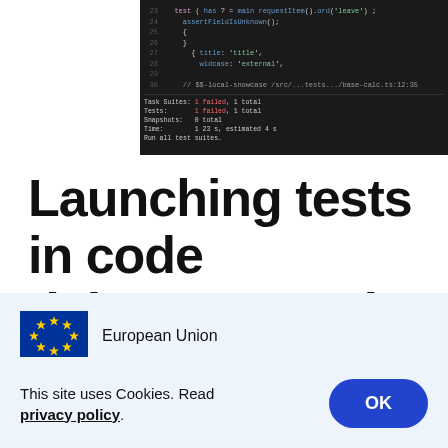[Figure (screenshot): A dark-themed code editor screenshot showing JavaScript/TypeScript test code with terminal output below, including red error indicators and test results.]
Launching tests in code debugger mode
Going back to Visual Studio Code now. To debug tests, add a new
[Figure (logo): European Union flag logo with blue background and yellow stars in a circle]
European Union
This site uses Cookies. Read privacy policy.
OK